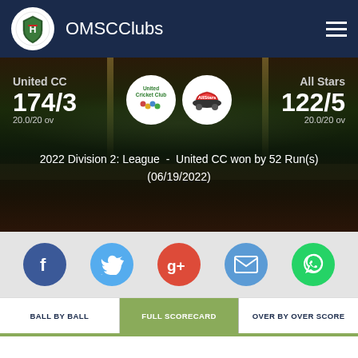OMSCClubs
[Figure (screenshot): Cricket match scorecard showing United CC 174/3 vs All Stars 122/5, both 20.0/20 overs. Stadium background image.]
United CC
174/3
20.0/20 ov
All Stars
122/5
20.0/20 ov
2022 Division 2: League  -  United CC won by 52 Run(s)
(06/19/2022)
[Figure (infographic): Social share buttons: Facebook, Twitter, Google+, Email, WhatsApp]
BALL BY BALL
FULL SCORECARD
OVER BY OVER SCORE